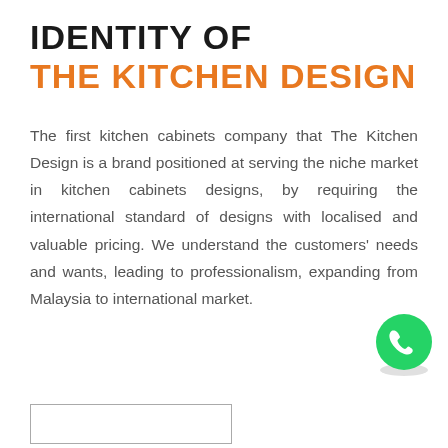IDENTITY OF THE KITCHEN DESIGN
The first kitchen cabinets company that The Kitchen Design is a brand positioned at serving the niche market in kitchen cabinets designs, by requiring the international standard of designs with localised and valuable pricing. We understand the customers' needs and wants, leading to professionalism, expanding from Malaysia to international market.
[Figure (logo): WhatsApp phone icon button (green circle with white phone handset)]